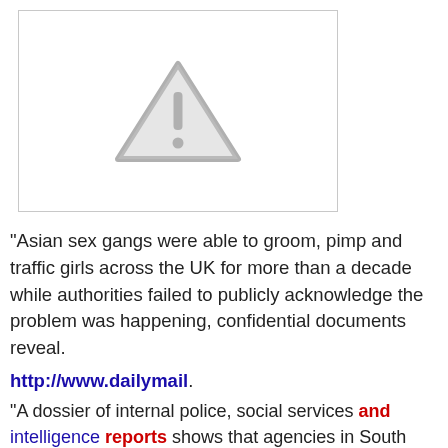[Figure (other): Placeholder image with a grey warning triangle exclamation mark icon on white background with grey border]
"Asian sex gangs were able to groom, pimp and traffic girls across the UK for more than a decade while authorities failed to publicly acknowledge the problem was happening, confidential documents reveal.
http://www.dailymail.
"A dossier of internal police, social services and intelligence reports shows that agencies in South Yorkshire were aware that vulnerable girls were being abused, but a catalogue of alleged crimes were not prosecuted."